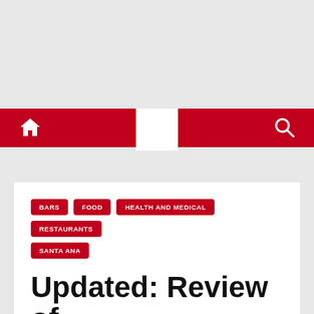[Figure (screenshot): Grey top banner area of a website]
Navigation bar with home icon, logo, and search icon on red background
BARS
FOOD
HEALTH AND MEDICAL
RESTAURANTS
SANTA ANA
Updated: Review of Downtown Santa